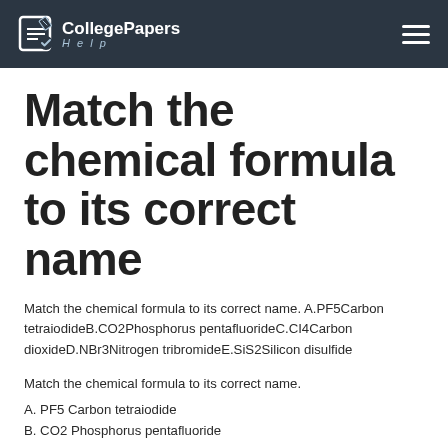CollegePapers Help
Match the chemical formula to its correct name
Match the chemical formula to its correct name. A.PF5Carbon tetraiodideB.CO2Phosphorus pentafluorideC.CI4Carbon dioxideD.NBr3Nitrogen tribromideE.SiS2Silicon disulfide
Match the chemical formula to its correct name.
A. PF5 Carbon tetraiodide
B. CO2 Phosphorus pentafluoride